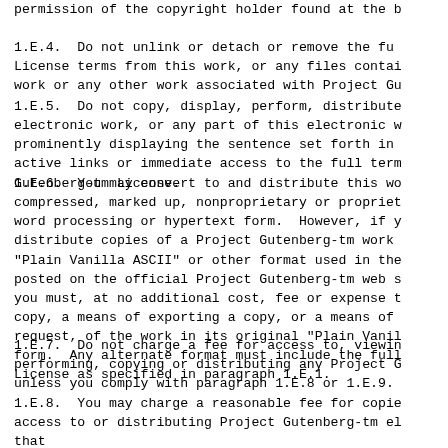permission of the copyright holder found at the b
1.E.4.  Do not unlink or detach or remove the fu
License terms from this work, or any files contai
work or any other work associated with Project Gu
1.E.5.  Do not copy, display, perform, distribute
electronic work, or any part of this electronic w
prominently displaying the sentence set forth in
active links or immediate access to the full term
Gutenberg-tm License.
1.E.6.  You may convert to and distribute this wo
compressed, marked up, nonproprietary or propriet
word processing or hypertext form.  However, if y
distribute copies of a Project Gutenberg-tm work
"Plain Vanilla ASCII" or other format used in the
posted on the official Project Gutenberg-tm web s
you must, at no additional cost, fee or expense t
copy, a means of exporting a copy, or a means of
request, of the work in its original "Plain Vanil
form.  Any alternate format must include the full
License as specified in paragraph 1.E.1.
1.E.7.  Do not charge a fee for access to, viewin
performing, copying or distributing any Project G
unless you comply with paragraph 1.E.8 or 1.E.9.
1.E.8.  You may charge a reasonable fee for copie
access to or distributing Project Gutenberg-tm el
that